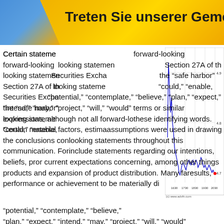Treten Sie unserer Gemeinsch...
[Figure (continuous-plot): Line chart showing price data over time from approximately 1600 to 2130, with y-axis values ranging from about 4.7 to 4.9. A red dot marks the last value at approximately 4.7. Source: (c) www.advfn.com]
Certain statements in this communication are forward-looking statements. These forward-looking statements are identified pursuant to Section 27A of the Securities Act of 1933 and Securities Exchange Act of 1934, which provide the "safe harbor" provisions for forward-looking statements. These statements include words such as "could," "enable," "potential," "contemplate," "believe," "plan," "expect," "intend," "may," "project," "will," "would" terms or similar expressions, although not all forward-looking statements contain these identifying words. Certain material factors, estimates, goals, projections or assumptions were used in drawing the conclusions contained in the forward-looking statements throughout this communication. Forward-looking statements include statements regarding our intentions, beliefs, projections, outlook, analyses or current expectations concerning, among other things, our products and expansion of product distribution. Many factors could cause actual results, performance or achievement to be materially different